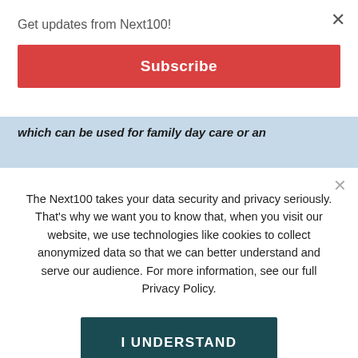Get updates from Next100!
Subscribe
which can be used for family day care or an
The Next100 takes your data security and privacy seriously. That's why we want you to know that, when you visit our website, we use technologies like cookies to collect anonymized data so that we can better understand and serve our audience. For more information, see our full Privacy Policy.
I UNDERSTAND